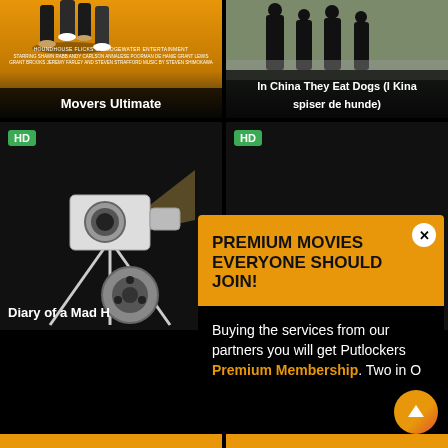[Figure (screenshot): Movie poster thumbnail for 'Movers Ultimate' on orange background with silhouetted legs and production text]
Movers Ultimate
[Figure (screenshot): Movie thumbnail for 'In China They Eat Dogs (I Kina spiser de hunde)' with dark silhouetted figures on grey background]
In China They Eat Dogs (I Kina spiser de hunde)
[Figure (screenshot): HD labeled dark movie thumbnail for 'Diary of a Mad H' with vintage film camera illustration]
[Figure (screenshot): HD labeled dark movie thumbnail on right side]
PREMIUM MOVIES EVERYONE SHOULD JOIN!
Buying the services from our partners you will get Putlockers Premium Membership. Two in O